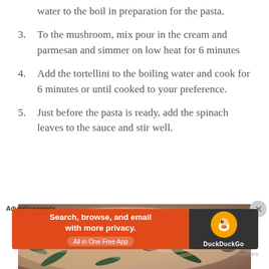water to the boil in preparation for the pasta.
3. To the mushroom, mix pour in the cream and parmesan and simmer on low heat for 6 minutes
4. Add the tortellini to the boiling water and cook for 6 minutes or until cooked to your preference.
5. Just before the pasta is ready, add the spinach leaves to the sauce and stir well.
[Figure (photo): Close-up photo of tortellini pasta with spinach leaves in a creamy mushroom sauce]
Advertisements
[Figure (screenshot): DuckDuckGo advertisement banner: 'Search, browse, and email with more privacy. All in One Free App' with DuckDuckGo logo on dark background]